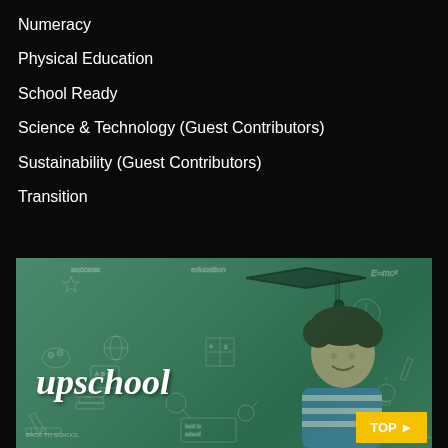Numeracy
Physical Education
School Ready
Science & Technology (Guest Contributors)
Sustainability (Guest Contributors)
Transition
[Figure (photo): A smiling young girl wearing a graduation cap lying on a green chalkboard background with educational doodles, with 'Upschool' written in cursive script and a yellow 'TOP >' button in the lower right corner]